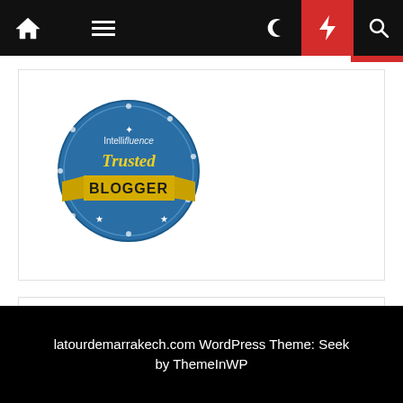Navigation bar with home, menu, moon, bolt, and search icons
[Figure (logo): Intellifluence Trusted Blogger badge — circular blue seal with gold ribbon banner reading BLOGGER]
pbn.buybacklinks.online
latourdemarrakech.com WordPress Theme: Seek by ThemeInWP